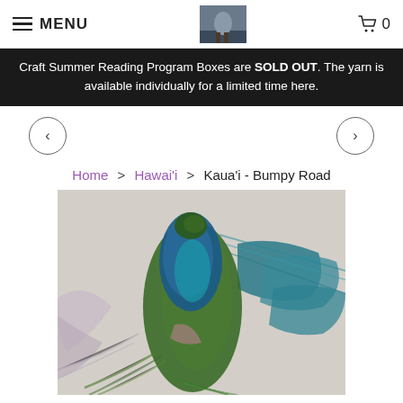MENU | [logo image] | cart 0
Craft Summer Reading Program Boxes are SOLD OUT. The yarn is available individually for a limited time here.
< navigation arrows >
Home > Hawai'i > Kaua'i - Bumpy Road
[Figure (photo): Photo of colorful hand-dyed yarn skeins in shades of blue, green, teal, and pink arranged on a light concrete surface]